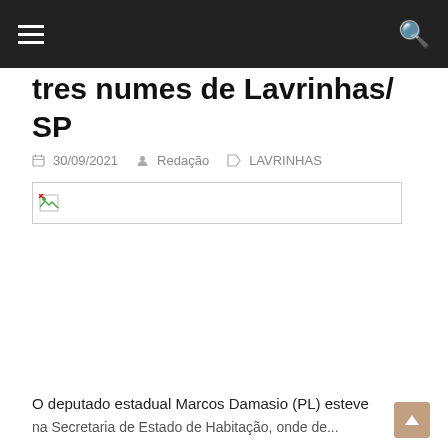Navigation header with hamburger menu and search icon
tres numes de Lavrinhas/SP
30/09/2021  Redação  LAVRINHAS
[Figure (photo): Broken image placeholder]
O deputado estadual Marcos Damasio (PL) esteve na Secretaria de Estado de Habitação, onde de...